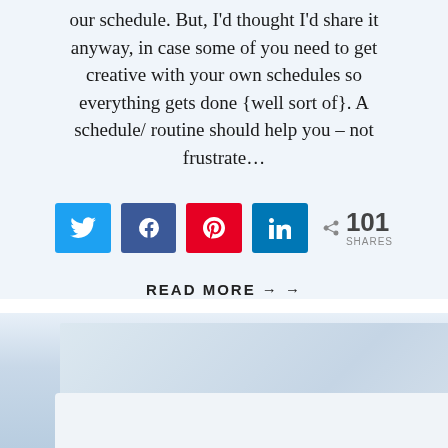our schedule. But, I’d thought I’d share it anyway, in case some of you need to get creative with your own schedules so everything gets done {well sort of}. A schedule/ routine should help you – not frustrate…
[Figure (infographic): Social sharing buttons row: Twitter (blue), Facebook (blue), Pinterest (red), LinkedIn (blue), and a share count showing 101 SHARES]
READ MORE →
[Figure (photo): Partial photo visible at bottom of page, appears to be a light-colored lifestyle or home image]